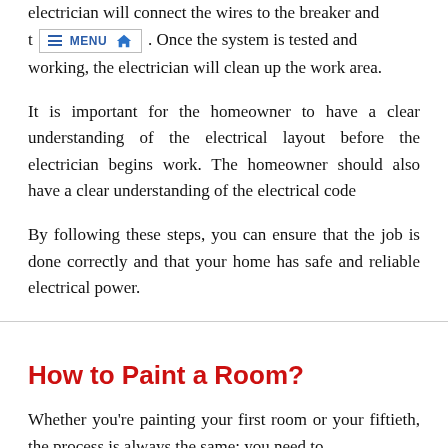electrician will connect the wires to the breaker and t. Once the system is tested and working, the electrician will clean up the work area.
It is important for the homeowner to have a clear understanding of the electrical layout before the electrician begins work. The homeowner should also have a clear understanding of the electrical code
By following these steps, you can ensure that the job is done correctly and that your home has safe and reliable electrical power.
How to Paint a Room?
Whether you're painting your first room or your fiftieth, the process is always the same: you need to